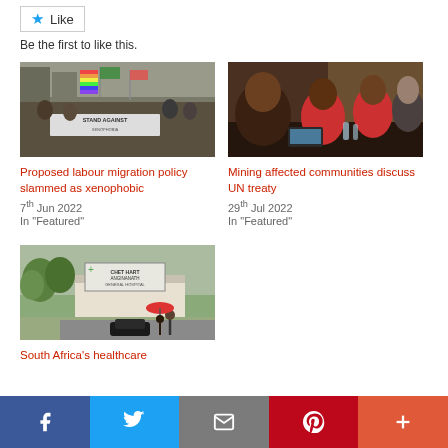Like
Be the first to like this.
[Figure (photo): Crowd of protesters carrying a 'Stand Against' banner in a city street]
Proposed labour migration policy slammed as xenophobic
7th Jun 2022
In "Featured"
[Figure (photo): People sitting around a conference table in a meeting room]
Mining affected communities discuss UN treaty
29th Jul 2022
In "Featured"
[Figure (photo): Street scene with a hospital or clinic sign, people walking with umbrellas]
South Africa's healthcare